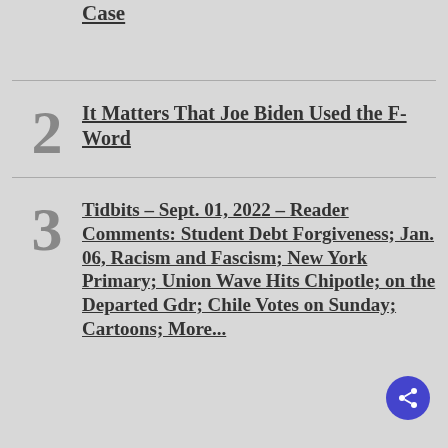[partial item 1 — cropped at top] ...of Trust in the Mar-a-Lago Case
2 It Matters That Joe Biden Used the F-Word
3 Tidbits – Sept. 01, 2022 – Reader Comments: Student Debt Forgiveness; Jan. 06, Racism and Fascism; New York Primary; Union Wave Hits Chipotle; on the Departed Gdr; Chile Votes on Sunday; Cartoons; More...